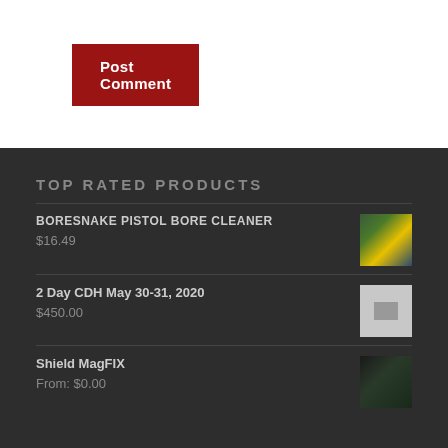Post Comment
TOP RATED PRODUCTS
BORESNAKE PISTOL BORE CLEANER
$16.49
[Figure (photo): Product thumbnail for Boresnake Pistol Bore Cleaner]
2 Day CDH May 30-31, 2020
$450.00
[Figure (photo): Placeholder thumbnail for 2 Day CDH May 30-31, 2020]
Shield MagFIX
From: $0.00
[Figure (photo): Product thumbnail for Shield MagFIX]